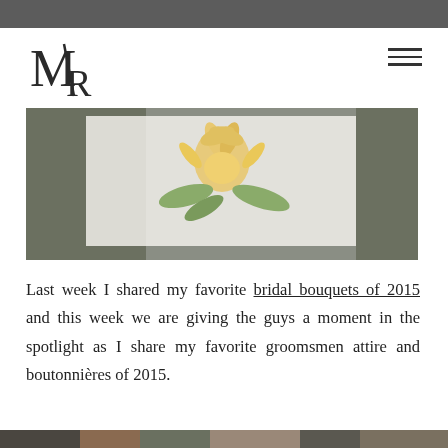[Figure (logo): MR monogram logo in serif/calligraphy style with a diagonal slash between M and R]
[Figure (photo): A floral arrangement photo showing a yellow/peach thistle-like flower with green leaves on a gray background, partially overlaid with a white rectangle]
Last week I shared my favorite bridal bouquets of 2015 and this week we are giving the guys a moment in the spotlight as I share my favorite groomsmen attire and boutonnières of 2015.
[Figure (photo): Bottom strip of another photo, partially visible]